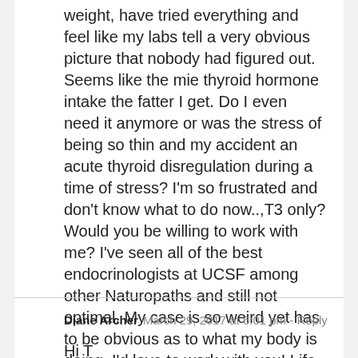weight, have tried everything and feel like my labs tell a very obvious picture that nobody had figured out. Seems like the mie thyroid hormone intake the fatter I get. Do I even need it anymore or was the stress of being so thin and my accident an acute thyroid disregulation during a time of stress? I'm so frustrated and don't know what to do now..,T3 only? Would you be willing to work with me? I've seen all of the best endocrinologists at UCSF among other Naturopaths and still not optimal. My case is so weird yet has to be obvious as to what my body is doing. I'd love to work with you! Life is short! I'm missing out at this pace!
Diane Archer  March 29, 2017 at 6:01 pm - Reply
Hi T